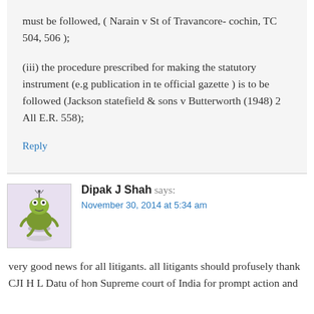must be followed, ( Narain v St of Travancore- cochin, TC 504, 506 );
(iii) the procedure prescribed for making the statutory instrument (e.g publication in te official gazette ) is to be followed (Jackson statefield & sons v Butterworth (1948) 2 All E.R. 558);
Reply
Dipak J Shah says:
November 30, 2014 at 5:34 am
very good news for all litigants. all litigants should profusely thank CJI H L Datu of hon Supreme court of India for prompt action and